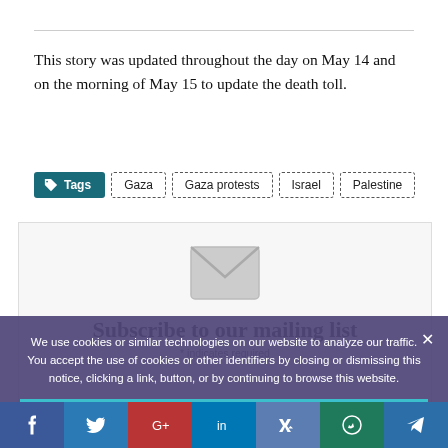This story was updated throughout the day on May 14 and on the morning of May 15 to update the death toll.
Tags: Gaza | Gaza protests | Israel | Palestine
[Figure (other): Subscribe to our mailing list box with mail envelope icon]
We use cookies or similar technologies on our website to analyze our traffic. You accept the use of cookies or other identifiers by closing or dismissing this notice, clicking a link, button, or by continuing to browse this website.
[Figure (other): Social media share bar: Facebook, Twitter, Google+, LinkedIn, VK, WhatsApp, Telegram]